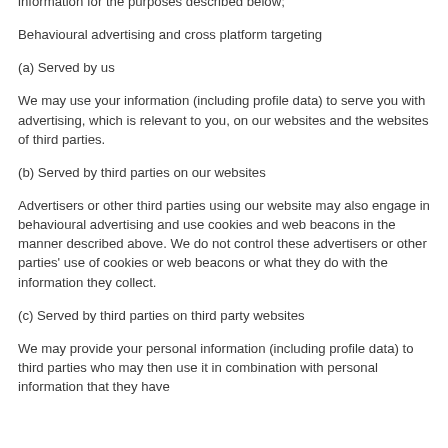information for the purposes described below;
Behavioural advertising and cross platform targeting
(a) Served by us
We may use your information (including profile data) to serve you with advertising, which is relevant to you, on our websites and the websites of third parties.
(b) Served by third parties on our websites
Advertisers or other third parties using our website may also engage in behavioural advertising and use cookies and web beacons in the manner described above. We do not control these advertisers or other parties' use of cookies or web beacons or what they do with the information they collect.
(c) Served by third parties on third party websites
We may provide your personal information (including profile data) to third parties who may then use it in combination with personal information that they have